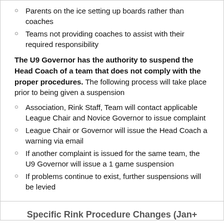Parents on the ice setting up boards rather than coaches
Teams not providing coaches to assist with their required responsibility
The U9 Governor has the authority to suspend the Head Coach of a team that does not comply with the proper procedures. The following process will take place prior to being given a suspension
Association, Rink Staff, Team will contact applicable League Chair and Novice Governor to issue complaint
League Chair or Governor will issue the Head Coach a warning via email
If another complaint is issued for the same team, the U9 Governor will issue a 1 game suspension
If problems continue to exist, further suspensions will be levied
Specific Rink Procedure Changes (Jan+